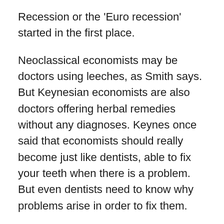Recession or the 'Euro recession' started in the first place.
Neoclassical economists may be doctors using leeches, as Smith says. But Keynesian economists are also doctors offering herbal remedies without any diagnoses. Keynes once said that economists should really become just like dentists, able to fix your teeth when there is a problem. But even dentists need to know why problems arise in order to fix them.
There is a viable explanation of recurrent and regular crises of production. Marxist crisis theory, based around Marx's law of the tendency of the rate of profit to fall, provides a coherent one.  Sure, the lack of data is an issue. But, contrary to Smith's view, that should not hold back a scientific inquiry into these causes. G Carchedi